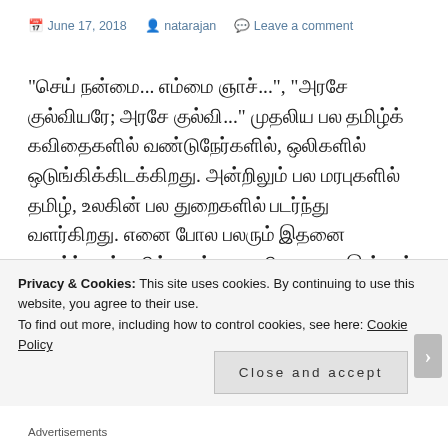June 17, 2018   natarajan   Leave a comment
“செய் நன்மைை... எம்மை ஞாச்...”, “அரசெ குல்வியரே; அரஸெ குல்வி...” முதலிய பல தமிழ்க் கவிதைகளில் வண்டுநேர்களில், ஒலிகளில் ஒடுங்கிக்கிடக்கிறது. அன்றிலும் பல மரபுகளில் தமிழ், உலகின் பல துறைகளில் படர்ந்து வளர்கிறது. எனை போல பலரும் இதனை உணர்நதவர்களில், நடந்துவருகிறைமை, இன்னும் பலருக்கு தமிழ் பழகியே இல்லை.
Privacy & Cookies: This site uses cookies. By continuing to use this website, you agree to their use.
To find out more, including how to control cookies, see here: Cookie Policy
Close and accept
Advertisements